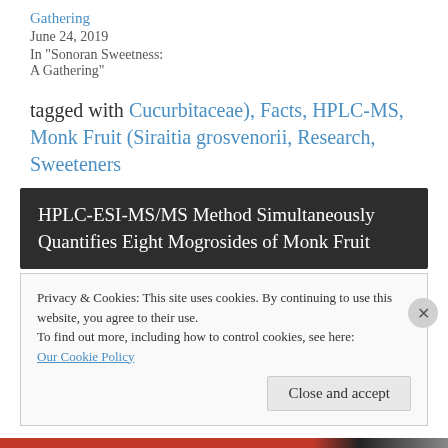Gathering
June 24, 2019
In "Sonoran Sweetness: A Gathering"
tagged with Cucurbitaceae), Facts, HPLC-MS, Monk Fruit (Siraitia grosvenorii, Research, Sweeteners
HPLC-ESI-MS/MS Method Simultaneously Quantifies Eight Mogrosides of Monk Fruit
Privacy & Cookies: This site uses cookies. By continuing to use this website, you agree to their use.
To find out more, including how to control cookies, see here:
Our Cookie Policy
Close and accept